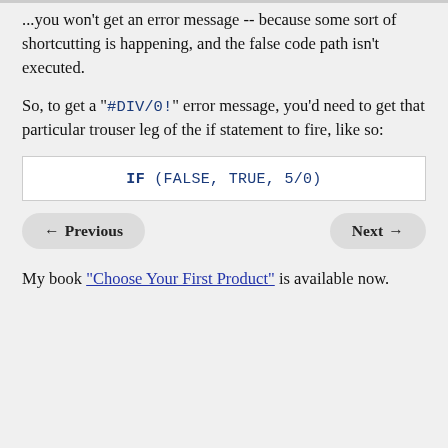...you won't get an error message -- because some sort of shortcutting is happening, and the false code path isn't executed.
So, to get a "#DIV/0!" error message, you'd need to get that particular trouser leg of the if statement to fire, like so:
IF (FALSE, TRUE, 5/0)
← Previous   Next →
My book "Choose Your First Product" is available now.